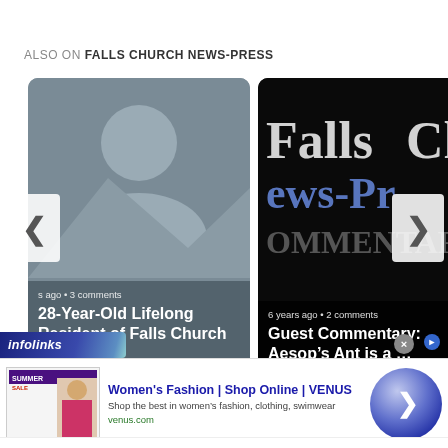ALSO ON FALLS CHURCH NEWS-PRESS
[Figure (screenshot): Carousel with two article cards. Left card: silhouette placeholder image, text '...s ago • 3 comments', title '28-Year-Old Lifelong Resident of Falls Church ...'. Right card: Falls Church News-Press logo/masthead background, text '6 years ago • 2 comments', title 'Guest Commentary: Aesop's Ant is a ...']
[Figure (screenshot): Advertisement bar from infolinks at bottom: 'Women's Fashion | Shop Online | VENUS', 'Shop the best in women's fashion, clothing, swimwear', 'venus.com']